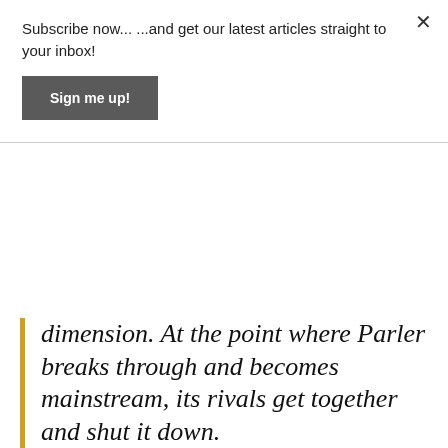Subscribe now... ...and get our latest articles straight to your inbox!
Sign me up!
dimension. At the point where Parler breaks through and becomes mainstream, its rivals get together and shut it down.
That certainly isn't the way events are being portrayed in the mainstream media, but could it be a sub-narrative in a marketplace where your attention is the main traded commodity?